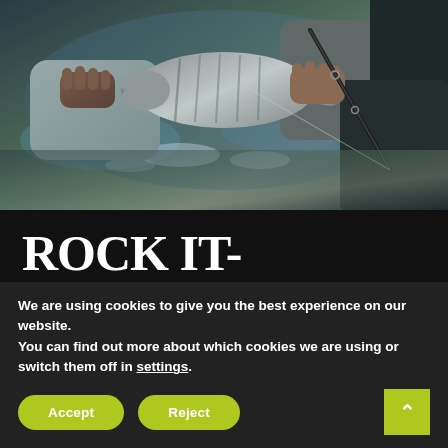[Figure (photo): A person holding a fish (striped sea bream) near water, with a fishing rod visible. The scene shows hands gripping a fish with scales catching light, water in the background.]
ROCK IT-TWITCH IT.
White Sea Breams hitting lures. That came as a surprise! It was ok for us to expect saddled seabreams, seabass, or aji to do so, but…white sea breams? Still, we don't know exactly why. As it seems, all such fish caught are found
We are using cookies to give you the best experience on our website.
You can find out more about which cookies we are using or switch them off in settings.
Accept
Reject